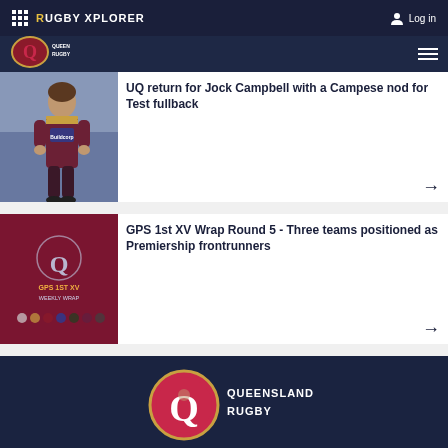RUGBY XPLORER | Log in
[Figure (logo): Queensland Rugby logo in secondary nav bar]
[Figure (photo): Rugby player in maroon Queensland jersey (Buildcorp sponsor), standing on field]
UQ return for Jock Campbell with a Campese nod for Test fullback
[Figure (illustration): GPS 1st XV Weekly Wrap promotional image with Queensland Rugby logo on dark red background]
GPS 1st XV Wrap Round 5 - Three teams positioned as Premiership frontrunners
[Figure (logo): Queensland Rugby logo in footer on dark navy background]